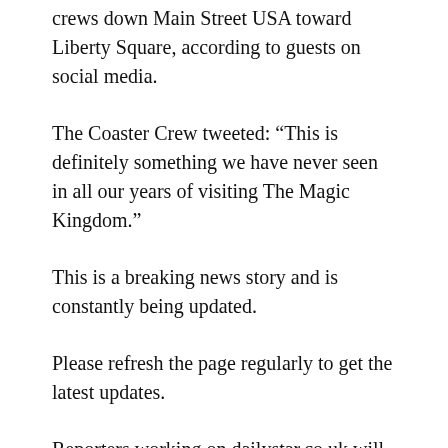crews down Main Street USA toward Liberty Square, according to guests on social media.
The Coaster Crew tweeted: “This is definitely something we have never seen in all our years of visiting The Magic Kingdom.”
This is a breaking news story and is constantly being updated.
Please refresh the page regularly to get the latest updates.
Reporters working on dailystar.co.uk will be working to source the latest information, reaction, pictures and video related to this story.
You can also follow us on Twitter @SilverScreenBeat